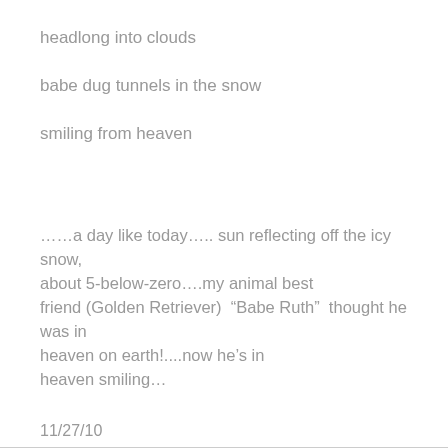headlong into clouds
babe dug tunnels in the snow
smiling from heaven
……a day like today….. sun reflecting off the icy snow, about 5-below-zero….my animal best friend (Golden Retriever)  “Babe Ruth”  thought he was in heaven on earth!....now he’s in heaven smiling…
11/27/10
9:55 am